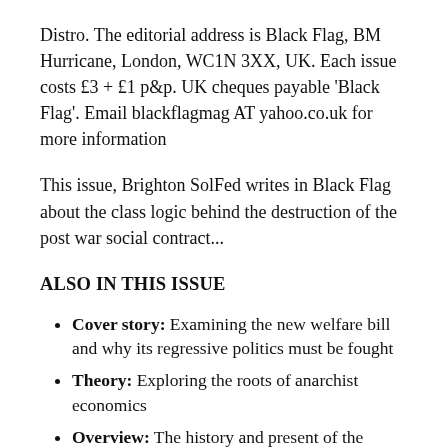Distro. The editorial address is Black Flag, BM Hurricane, London, WC1N 3XX, UK. Each issue costs £3 + £1 p&p. UK cheques payable 'Black Flag'. Email blackflagmag AT yahoo.co.uk for more information
This issue, Brighton SolFed writes in Black Flag about the class logic behind the destruction of the post war social contract...
ALSO IN THIS ISSUE
Cover story: Examining the new welfare bill and why its regressive politics must be fought
Theory: Exploring the roots of anarchist economics
Overview: The history and present of the anarchist bookfair, by one of the founders of the event
Breathing Utopia: Our new series on how society's